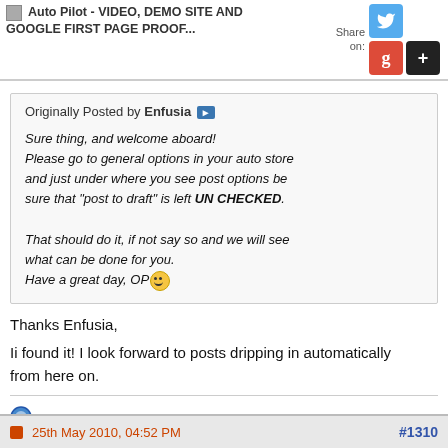Auto Pilot - VIDEO, DEMO SITE AND GOOGLE FIRST PAGE PROOF...
Originally Posted by Enfusia
Sure thing, and welcome aboard!
Please go to general options in your auto store and just under where you see post options be sure that "post to draft" is left UN CHECKED.

That should do it, if not say so and we will see what can be done for you.
Have a great day, OP :)
Thanks Enfusia,

Ii found it! I look forward to posts dripping in automatically from here on.
25th May 2010, 04:52 PM
#1310